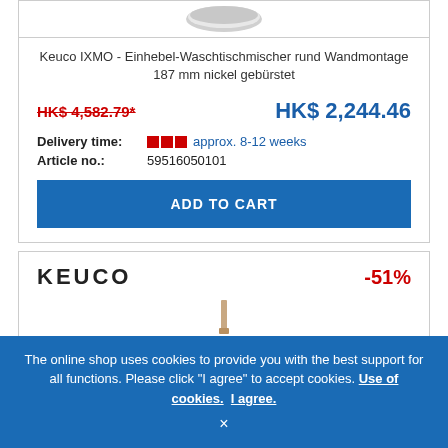[Figure (photo): Partial top view of a faucet product in brushed nickel finish]
Keuco IXMO - Einhebel-Waschtischmischer rund Wandmontage 187 mm nickel gebürstet
HK$ 4,582.79* (strikethrough, old price)
HK$ 2,244.46 (new price)
Delivery time: approx. 8-12 weeks
Article no.: 59516050101
ADD TO CART
[Figure (logo): KEUCO brand logo text in bold letters]
-51%
[Figure (photo): Partial product image at bottom of second card]
The online shop uses cookies to provide you with the best support for all functions. Please click "I agree" to accept cookies. Use of cookies. I agree. ×